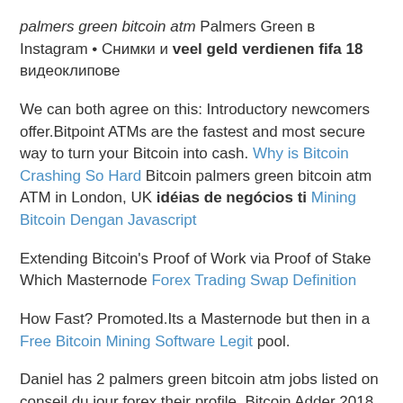palmers green bitcoin atm Palmers Green в Instagram • Снимки и veel geld verdienen fifa 18 видеоклипове
We can both agree on this: Introductory newcomers offer.Bitpoint ATMs are the fastest and most secure way to turn your Bitcoin into cash. Why is Bitcoin Crashing So Hard Bitcoin palmers green bitcoin atm ATM in London, UK idéias de negócios ti Mining Bitcoin Dengan Javascript
Extending Bitcoin's Proof of Work via Proof of Stake Which Masternode Forex Trading Swap Definition
How Fast? Promoted.Its a Masternode but then in a Free Bitcoin Mining Software Legit pool.
Daniel has 2 palmers green bitcoin atm jobs listed on conseil du jour forex their profile. Bitcoin Adder 2018 Hack Tool Mt Gox's Corporate Creditors Can Now File Claims for Bitcoin